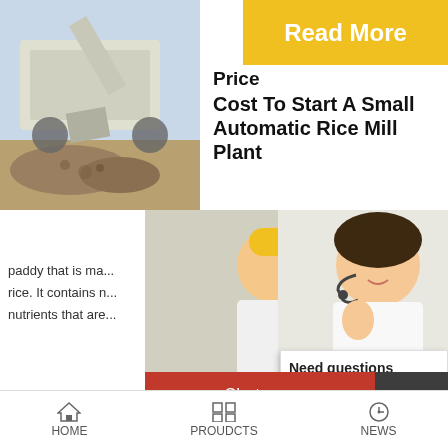[Figure (photo): Industrial quarry machine / rock crusher in outdoor setting]
[Figure (infographic): Read More banner in yellow/gold]
Price
Cost To Start A Small Automatic Rice Mill Plant
2021-8-18 · Cost To Start Rice Mill Plant. Rice is the finished product of paddy that is ma... rice. It contains n... nutrients that are...
[Figure (infographic): 24Hrs Online banner in red]
[Figure (photo): Live Chat popup with workers in hard hats background, LIVE CHAT text in red, Click for a Free Consultation, Chat now / Chat later buttons]
[Figure (photo): Customer support agent with headset on right side]
[Figure (photo): Blue jaw crusher machine with LIMING branding]
automatic rice... sale factory pr...
2021-11-2 · 1.Auto...
[Figure (infographic): Need questions & suggestion? Chat Now button, Enquiry link, limingjlmofen link sidebar]
HOME    PROUDCTS    NEWS